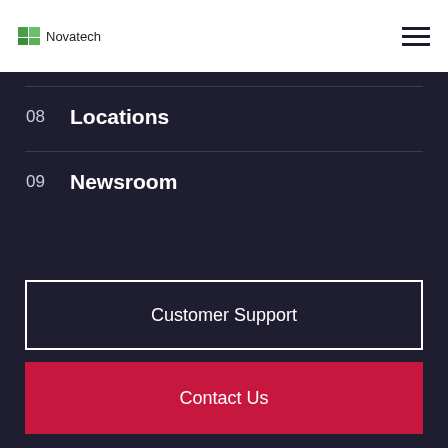Novatech
08  Locations
09  Newsroom
Customer Support
Contact Us